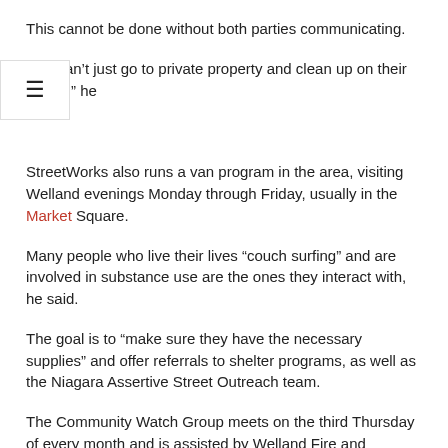This cannot be done without both parties communicating.
“We can’t just go to private property and clean up on their behalf,” he
StreetWorks also runs a van program in the area, visiting Welland evenings Monday through Friday, usually in the Market Square.
Many people who live their lives “couch surfing” and are involved in substance use are the ones they interact with, he said.
The goal is to “make sure they have the necessary supplies” and offer referrals to shelter programs, as well as the Niagara Assertive Street Outreach team.
The Community Watch Group meets on the third Thursday of every month and is assisted by Welland Fire and Emergency Services Chief Adam Eckhart, as well as representatives from Niagara Regional Police, Public Health from Niagara Region, Niagara